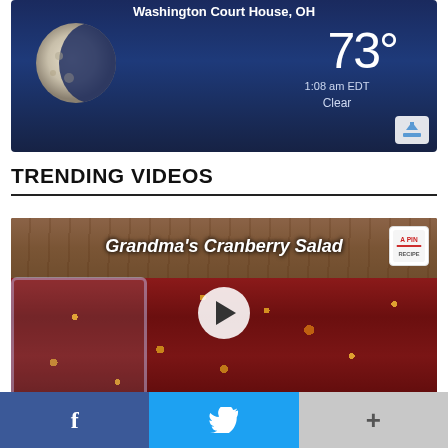[Figure (screenshot): Weather widget showing Washington Court House, OH with a crescent moon image, temperature 73°, time 1:08 am EDT, condition Clear, on a dark blue night sky background]
TRENDING VIDEOS
[Figure (screenshot): Video thumbnail for 'Grandma's Cranberry Salad' showing a glass dish of cranberry salad with a play button overlay, on a wood surface background]
[Figure (other): Social sharing bar with Facebook (blue), Twitter (blue), and More (gray) buttons]